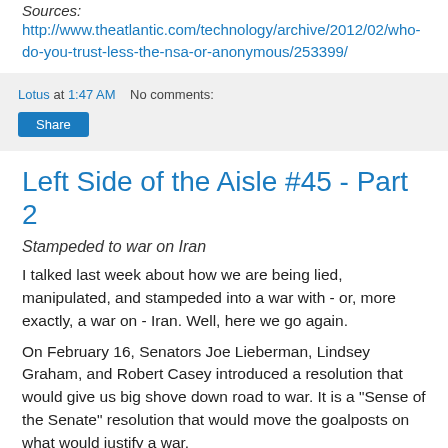Sources:
http://www.theatlantic.com/technology/archive/2012/02/who-do-you-trust-less-the-nsa-or-anonymous/253399/
Lotus at 1:47 AM   No comments:
Share
Left Side of the Aisle #45 - Part 2
Stampeded to war on Iran
I talked last week about how we are being lied, manipulated, and stampeded into a war with - or, more exactly, a war on - Iran. Well, here we go again.
On February 16, Senators Joe Lieberman, Lindsey Graham, and Robert Casey introduced a resolution that would give us big shove down road to war. It is a "Sense of the Senate" resolution that would move the goalposts on what would justify a war.